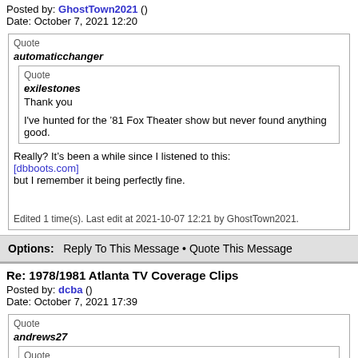Posted by: GhostTown2021 ()
Date: October 7, 2021 12:20
Quote
automaticchanger
Quote
exilestones
Thank you

I've hunted for the '81 Fox Theater show but never found anything good.
Really? It's been a while since I listened to this:
[dbboots.com]
but I remember it being perfectly fine.
Edited 1 time(s). Last edit at 2021-10-07 12:21 by GhostTown2021.
Options:   Reply To This Message • Quote This Message
Re: 1978/1981 Atlanta TV Coverage Clips
Posted by: dcba ()
Date: October 7, 2021 17:39
Quote
andrews27
Quote
gastonl74
Thank you!!
You don't see much of the 1981 Fox Theater show, I even think there are no photos of that show